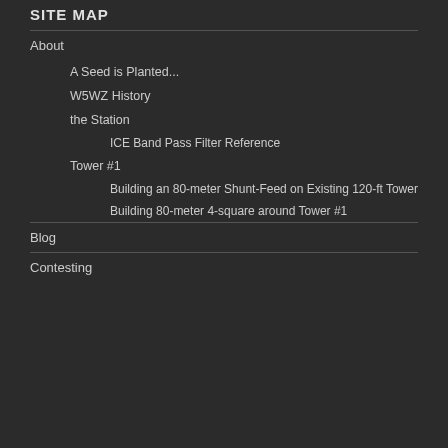SITE MAP
About
A Seed is Planted...
W5WZ History
the Station
ICE Band Pass Filter Reference
Tower #1
Building an 80-meter Shunt-Feed on Existing 120-ft Tower
Building 80-meter 4-square around Tower #1
Blog
Contesting